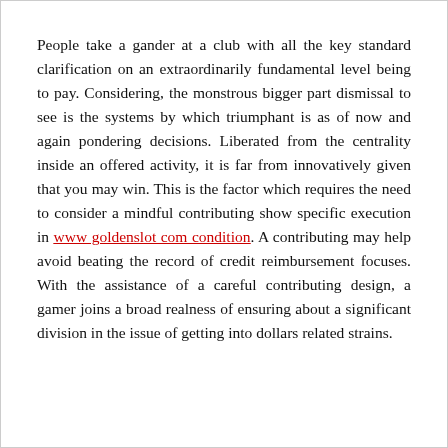People take a gander at a club with all the key standard clarification on an extraordinarily fundamental level being to pay. Considering, the monstrous bigger part dismissal to see is the systems by which triumphant is as of now and again pondering decisions. Liberated from the centrality inside an offered activity, it is far from innovatively given that you may win. This is the factor which requires the need to consider a mindful contributing show specific execution in www goldenslot com condition. A contributing may help avoid beating the record of credit reimbursement focuses. With the assistance of a careful contributing design, a gamer joins a broad realness of ensuring about a significant division in the issue of getting into dollars related strains.